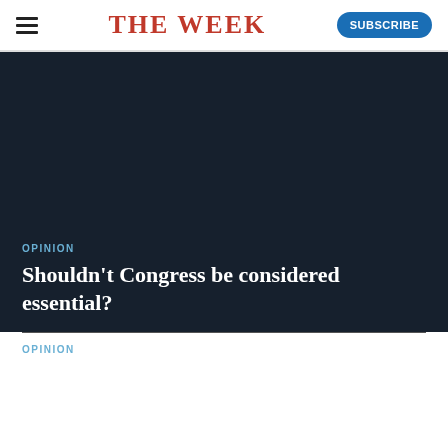THE WEEK
[Figure (photo): Dark navy background image area filling the hero section of the article]
OPINION
Shouldn't Congress be considered essential?
OPINION